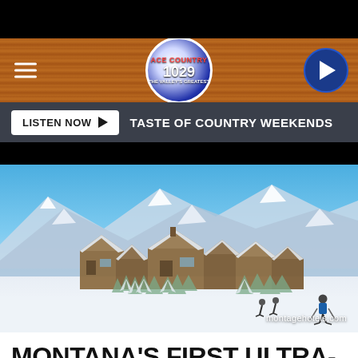[Figure (screenshot): Website header bar with wood texture background, hamburger menu icon on left, circular logo in center reading 'ACE COUNTRY 1029', and circular play button on right]
LISTEN NOW ▶  TASTE OF COUNTRY WEEKENDS
[Figure (photo): Winter mountain resort scene showing snow-covered luxury lodge buildings with mountains in background, skiers in foreground, blue sky. Attribution: montagehotels.com]
MONTANA'S FIRST ULTRA-LUXURY